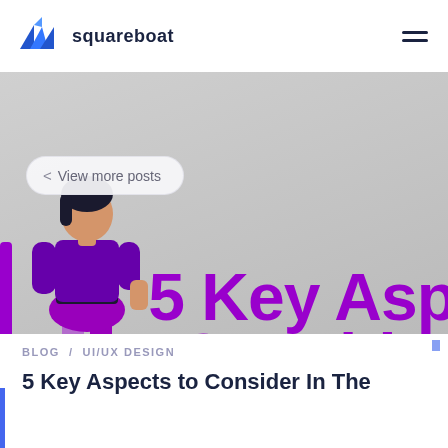squareboat
[Figure (illustration): Hero banner area with gray background showing a woman in purple top and skirt with text '5 Key Asp... Consider...' in large purple bold font overlay, and a 'View more posts' navigation button]
< View more posts
BLOG / UI/UX DESIGN
5 Key Aspects to Consider In The